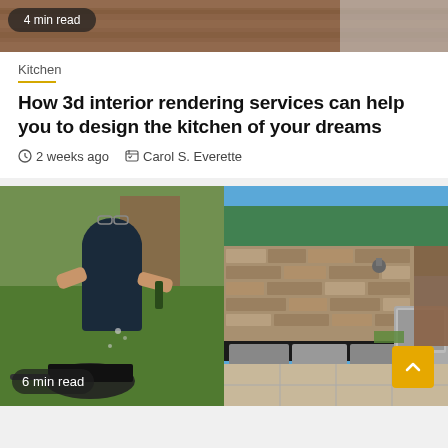[Figure (photo): Partial top image of wood/kitchen surface with a badge '4 min read']
Kitchen
How 3d interior rendering services can help you to design the kitchen of your dreams
2 weeks ago   Carol S. Everette
[Figure (photo): Man with glasses cooking outdoors, pouring liquid into a pan with '6 min read' badge]
[Figure (photo): Outdoor kitchen with stone wall, stainless steel grill and cabinetry under blue sky]